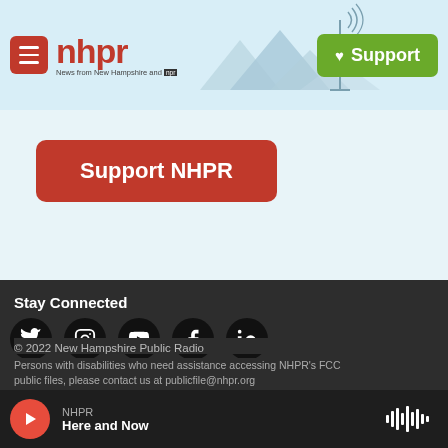nhpr — News from New Hampshire and NPR | Support
[Figure (logo): NHPR logo with hamburger menu icon on left and green Support button on right, mountain and radio tower silhouette background]
Support NHPR
Stay Connected
[Figure (infographic): Five social media icons in black circles: Twitter, Instagram, YouTube, Facebook, LinkedIn]
© 2022 New Hampshire Public Radio
Persons with disabilities who need assistance accessing NHPR's FCC public files, please contact us at publicfile@nhpr.org
NHPR — Here and Now